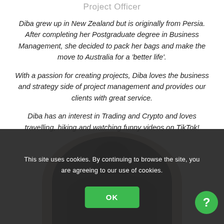Project Officer
Diba grew up in New Zealand but is originally from Persia. After completing her Postgraduate degree in Business Management, she decided to pack her bags and make the move to Australia for a ‘better life’.
With a passion for creating projects, Diba loves the business and strategy side of project management and provides our clients with great service.
Diba has an interest in Trading and Crypto and loves travelling, hiking and watching funny videos on TikTok!
[Figure (photo): Circular profile photo of a person (Diba), partially visible, with a beige/tan circular background. The lower portion is obscured by a dark cookie consent overlay.]
This site uses cookies. By continuing to browse the site, you are agreeing to our use of cookies.